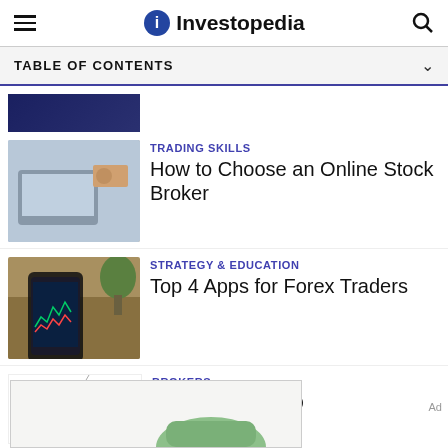Investopedia
TABLE OF CONTENTS
[Figure (photo): Partial thumbnail of an article image, dark blue tones]
[Figure (photo): Person using laptop and holding credit card]
TRADING SKILLS
How to Choose an Online Stock Broker
[Figure (photo): Person holding smartphone showing forex trading app]
STRATEGY & EDUCATION
Top 4 Apps for Forex Traders
[Figure (logo): E*TRADE logo with vs bubble graphic]
BROKERS
E*TRADE vs. TD